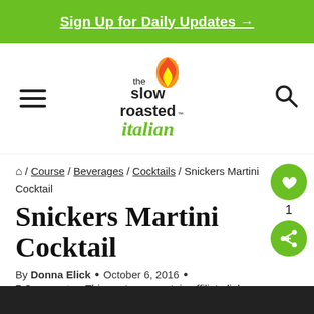Sign Up for Daily Updates →
[Figure (logo): The Slow Roasted Italian logo with flame icon and cursive italian text]
⌂ / Course / Beverages / Cocktails / Snickers Martini Cocktail
Snickers Martini Cocktail
By Donna Elick • October 6, 2016 • 7 Comments • This post may contain affiliate links. Please read my disclosure policy.